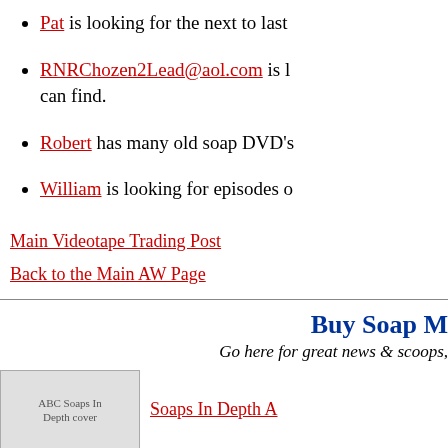Pat is looking for the next to last
RNRChozen2Lead@aol.com is l... can find.
Robert has many old soap DVD's
William is looking for episodes o
Main Videotape Trading Post
Back to the Main AW Page
Buy Soap M
Go here for great news & scoops,
[Figure (photo): ABC Soaps In Depth cover image placeholder]
Soaps In Depth A